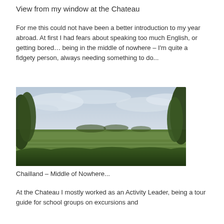View from my window at the Chateau
For me this could not have been a better introduction to my year abroad. At first I had fears about speaking too much English, or getting bored… being in the middle of nowhere – I'm quite a fidgety person, always needing something to do...
[Figure (photo): Landscape photo showing a wide green field with crops in the foreground, trees on the left and right edges, and a pale cloudy sky above. The scene depicts a rural countryside setting.]
Chailland – Middle of Nowhere...
At the Chateau I mostly worked as an Activity Leader, being a tour guide for school groups on excursions and